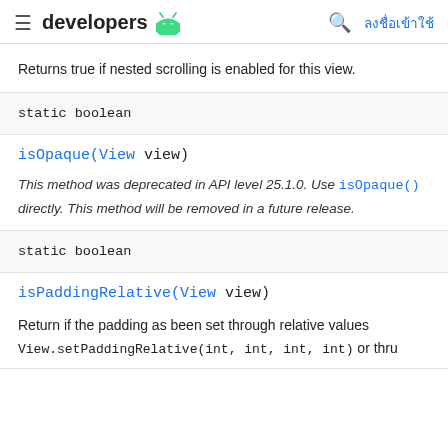≡ developers 🤖  🔍 ลงชื่อเข้าใช้
Returns true if nested scrolling is enabled for this view.
static boolean
isOpaque(View view)
This method was deprecated in API level 25.1.0. Use isOpaque() directly. This method will be removed in a future release.
static boolean
isPaddingRelative(View view)
Return if the padding as been set through relative values View.setPaddingRelative(int, int, int, int) or thru